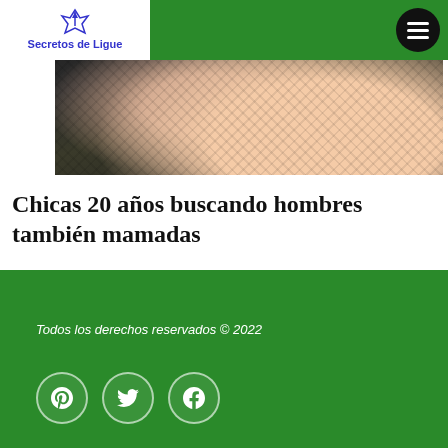Secretos de Ligue
[Figure (photo): Woman in black lace lingerie, cropped close-up photo used as article header image]
Chicas 20 años buscando hombres también mamadas
Todos los derechos reservados © 2022